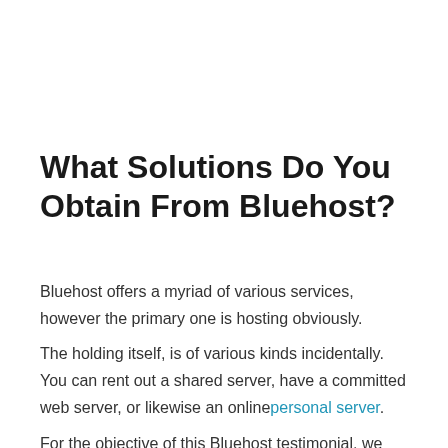What Solutions Do You Obtain From Bluehost?
Bluehost offers a myriad of various services, however the primary one is hosting obviously.
The holding itself, is of various kinds incidentally. You can rent out a shared server, have a committed web server, or likewise an online personal server.
For the objective of this Bluehost testimonial, we will concentrate on organizing solutions and various other services, that a blog